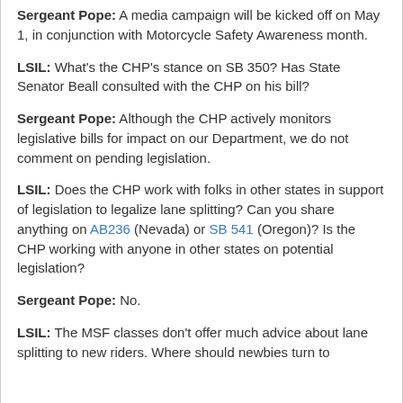Sergeant Pope: A media campaign will be kicked off on May 1, in conjunction with Motorcycle Safety Awareness month.
LSIL: What's the CHP's stance on SB 350? Has State Senator Beall consulted with the CHP on his bill?
Sergeant Pope: Although the CHP actively monitors legislative bills for impact on our Department, we do not comment on pending legislation.
LSIL: Does the CHP work with folks in other states in support of legislation to legalize lane splitting? Can you share anything on AB236 (Nevada) or SB 541 (Oregon)? Is the CHP working with anyone in other states on potential legislation?
Sergeant Pope: No.
LSIL: The MSF classes don't offer much advice about lane splitting to new riders. Where should newbies turn to